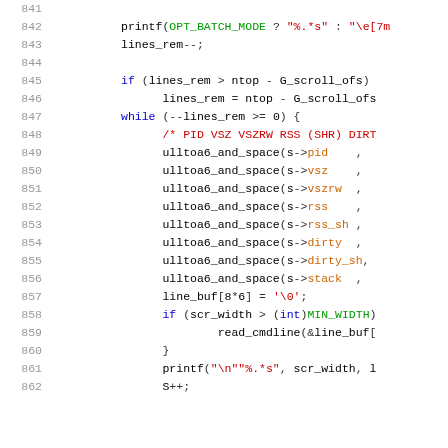[Figure (screenshot): Source code listing showing C code lines 841-862 with syntax highlighting. Keywords in blue, strings/comments in red, macros/identifiers in green and orange.]